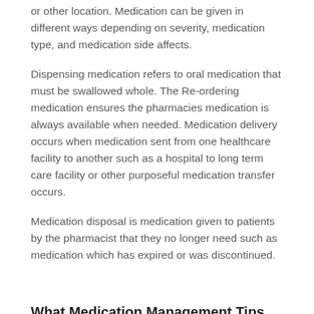or other location. Medication can be given in different ways depending on severity, medication type, and medication side affects.
Dispensing medication refers to oral medication that must be swallowed whole. The Re-ordering medication ensures the pharmacies medication is always available when needed. Medication delivery occurs when medication sent from one healthcare facility to another such as a hospital to long term care facility or other purposeful medication transfer occurs.
Medication disposal is medication given to patients by the pharmacist that they no longer need such as medication which has expired or was discontinued.
What Medication Management Tips do you Have?
You can take your medication the most efficiently